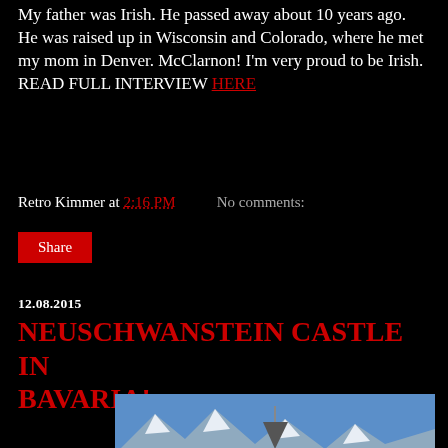My father was Irish. He passed away about 10 years ago. He was raised up in Wisconsin and Colorado, where he met my mom in Denver. McClarnon! I'm very proud to be Irish. READ FULL INTERVIEW HERE
Retro Kimmer at 2:16 PM   No comments:
Share
12.08.2015
NEUSCHWANSTEIN CASTLE IN BAVARIA!
[Figure (photo): Neuschwanstein Castle in Bavaria, Germany, surrounded by mist and fog with snow-capped mountains in the background.]